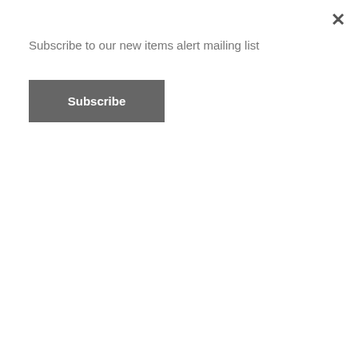Subscribe to our new items alert mailing list
Subscribe
electrode
Talanta147 , 90-97. DOI: 10.1016/j.talanta.2015.09.043
2015
ZhouY.S.ZhouT.T.JinH.JingT.SongB.ZhouY.K.MeiS.R.LeeY.I.
Rapid and selective extraction of multiple macrolide antibiotics in foodstuff samples based on magnetic molecularly imprinted polymers
Talanta137 , 1-10. DOI: 10.1016/j.talanta.2015.01.008
2015
ZhaoS.YangX.ZhaoH.T.DongA.J.WangJ.ZhangM.HuangW.W.
Water-compatible surface imprinting of 'Saccharin sodium'